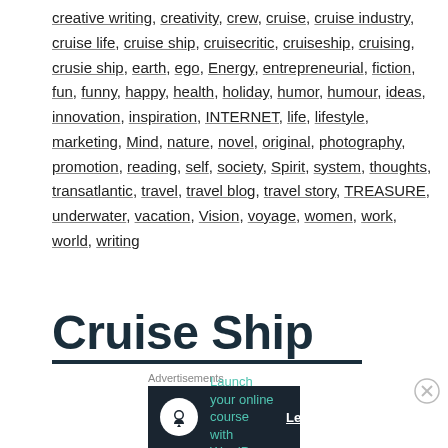creative writing, creativity, crew, cruise, cruise industry, cruise life, cruise ship, cruisecritic, cruiseship, cruising, crusie ship, earth, ego, Energy, entrepreneurial, fiction, fun, funny, happy, health, holiday, humor, humour, ideas, innovation, inspiration, INTERNET, life, lifestyle, marketing, Mind, nature, novel, original, photography, promotion, reading, self, society, Spirit, system, thoughts, transatlantic, travel, travel blog, travel story, TREASURE, underwater, vacation, Vision, voyage, women, work, world, writing
Cruise Ship
[Figure (other): Advertisement banner: 'Launch your online course with WordPress' with Learn More button]